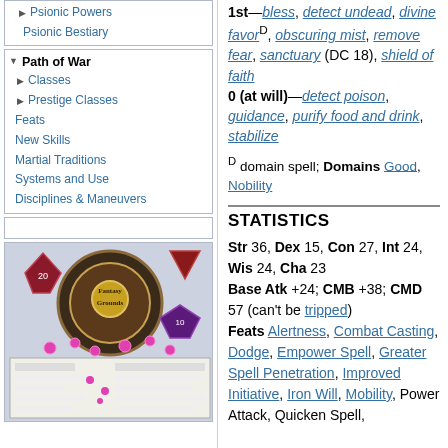▶ Psionic Powers
Psionic Bestiary
▼ Path of War
▶ Classes
▶ Prestige Classes
Feats
New Skills
Martial Traditions
Systems and Use
Disciplines & Maneuvers
[Figure (screenshot): Fantasy Grounds software screenshot showing tabletop RPG interface with dice and character sheet]
1st—bless, detect undead, divine favor^D, obscuring mist, remove fear, sanctuary (DC 18), shield of faith
0 (at will)—detect poison, guidance, purify food and drink, stabilize
D domain spell; Domains Good, Nobility
STATISTICS
Str 36, Dex 15, Con 27, Int 24, Wis 24, Cha 23
Base Atk +24; CMB +38; CMD 57 (can't be tripped)
Feats Alertness, Combat Casting, Dodge, Empower Spell, Greater Spell Penetration, Improved Initiative, Iron Will, Mobility, Power Attack, Quicken Spell,